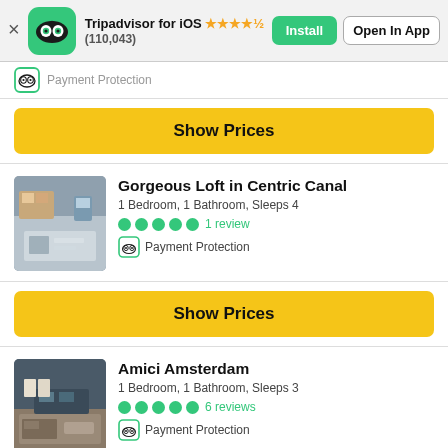[Figure (screenshot): Tripadvisor app banner with owl logo, star rating 4.5 (110,043), Install and Open In App buttons]
Payment Protection (partial, cut off at top)
Show Prices
Gorgeous Loft in Centric Canal
1 Bedroom, 1 Bathroom, Sleeps 4
1 review
Payment Protection
Show Prices
Amici Amsterdam
1 Bedroom, 1 Bathroom, Sleeps 3
6 reviews
Payment Protection